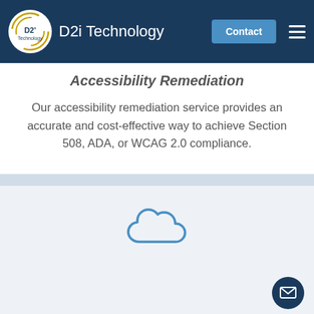D2i Technology
Accessibility Remediation
Our accessibility remediation service provides an accurate and cost-effective way to achieve Section 508, ADA, or WCAG 2.0 compliance.
[Figure (illustration): Blue cloud icon representing cloud services]